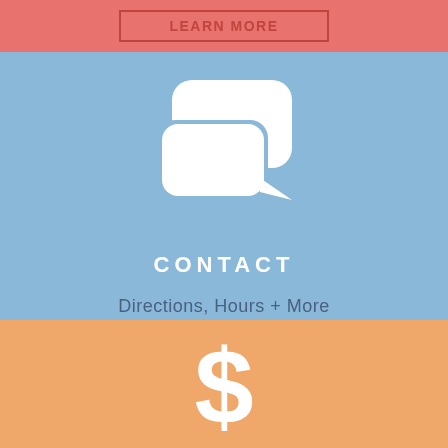LEARN MORE
[Figure (illustration): Two overlapping white speech bubble icons forming a chat/contact logo on a blue background]
CONTACT
Directions, Hours + More
CHECK US OUT
[Figure (illustration): White dollar sign icon on an orange background]